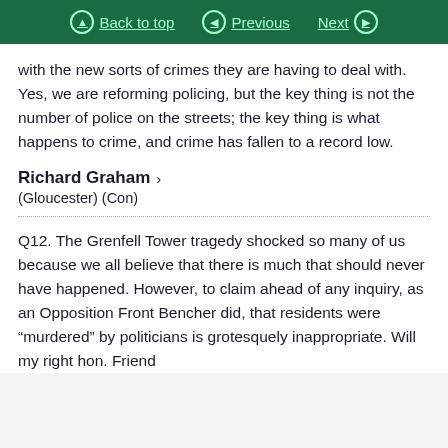Back to top | Previous | Next
with the new sorts of crimes they are having to deal with. Yes, we are reforming policing, but the key thing is not the number of police on the streets; the key thing is what happens to crime, and crime has fallen to a record low.
Richard Graham
(Gloucester) (Con)
Q12. The Grenfell Tower tragedy shocked so many of us because we all believe that there is much that should never have happened. However, to claim ahead of any inquiry, as an Opposition Front Bencher did, that residents were “murdered” by politicians is grotesquely inappropriate. Will my right hon. Friend